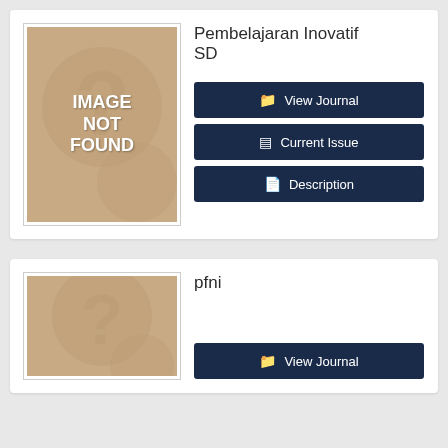[Figure (illustration): Image not found placeholder with tan/brown background and question mark watermark, showing text IMAGE NOT FOUND in white bold letters]
Pembelajaran Inovatif SD
View Journal
Current Issue
Description
[Figure (illustration): Image not found placeholder with tan/brown background and question mark watermark, partially visible]
pfni
View Journal